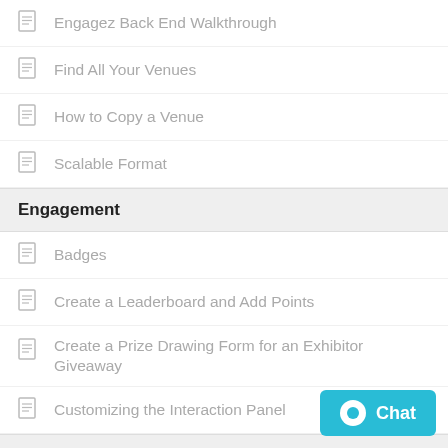Engagez Back End Walkthrough
Find All Your Venues
How to Copy a Venue
Scalable Format
Engagement
Badges
Create a Leaderboard and Add Points
Create a Prize Drawing Form for an Exhibitor Giveaway
Customizing the Interaction Panel
Sessions
Add Speaker Session Resources